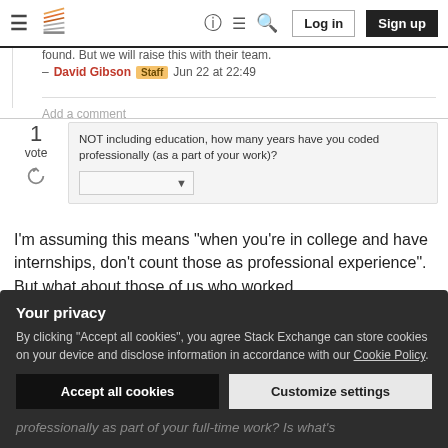Stack Exchange navigation bar with Log in and Sign up buttons
found. But we will raise this with their team.
– David Gibson Staff Jun 22 at 22:49
Add a comment
1 vote
NOT including education, how many years have you coded professionally (as a part of your work)?
I'm assuming this means "when you're in college and have internships, don't count those as professional experience". But what about those of us who worked
Your privacy
By clicking "Accept all cookies", you agree Stack Exchange can store cookies on your device and disclose information in accordance with our Cookie Policy.
Accept all cookies
Customize settings
professionally as part of your full-time work? Is what's